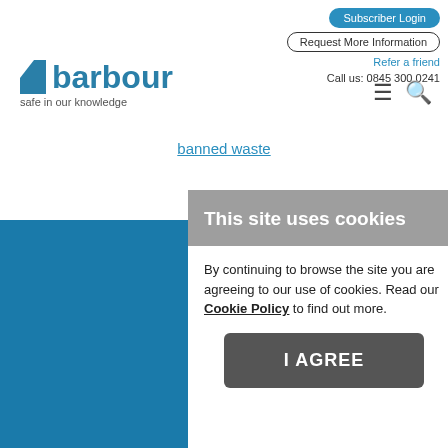Subscriber Login | Request More Information | Refer a friend | Call us: 0845 300 0241
[Figure (logo): Barbour logo with tagline 'safe in our knowledge']
Banned waste
Welco...
This site uses cookies
By continuing to browse the site you are agreeing to our use of cookies. Read our Cookie Policy to find out more.
I AGREE
Downloads
Contact Us
Request More Information
Refer a friend
Privacy